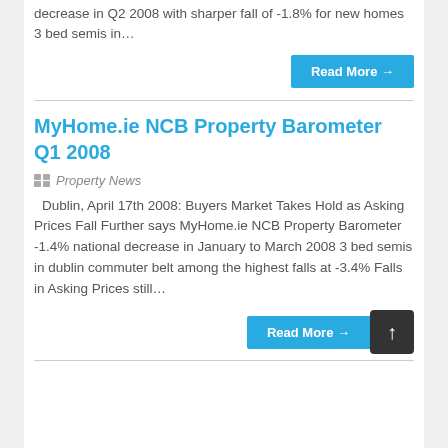12 months says MyHome.ie survey - new national decrease in Q2 2008 with sharper fall of -1.8% for new homes 3 bed semis in…
Read More →
MyHome.ie NCB Property Barometer Q1 2008
Property News
Dublin, April 17th 2008: Buyers Market Takes Hold as Asking Prices Fall Further says MyHome.ie NCB Property Barometer -1.4% national decrease in January to March 2008 3 bed semis in dublin commuter belt among the highest falls at -3.4% Falls in Asking Prices still…
Read More →